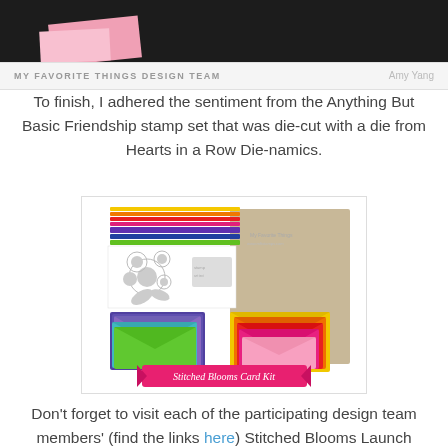[Figure (photo): Top portion of a craft card photo with dark background and pink elements, partial view]
MY FAVORITE THINGS DESIGN TEAM   Amy Yang
To finish, I adhered the sentiment from the Anything But Basic Friendship stamp set that was die-cut with a die from Hearts in a Row Die-namics.
[Figure (photo): Stitched Blooms Card Kit product photo showing colorful cardstock sheets in rainbow colors, envelopes, and die-cut flower shapes, with a pink banner reading 'Stitched Blooms Card Kit']
Don't forget to visit each of the participating design team members' (find the links here) Stitched Blooms Launch posts